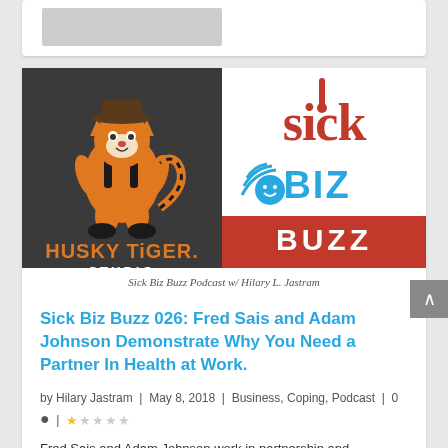[Figure (logo): Combined logo image: Husky Tiger Studio (dark background with orange tiger mascot) and Sick Biz Buzz Podcast (white background with red and blue text and thermometer icon). Caption reads: Sick Biz Buzz Podcast w/ Hilary L Jastram]
Sick Biz Buzz 026: Fred Sais and Adam Johnson Demonstrate Why You Need a Partner In Health at Work.
by Hilary Jastram | May 8, 2018 | Business, Coping, Podcast | 0
Fred Sais and Adam Johnson work in partnership and